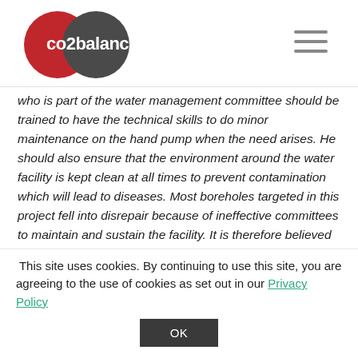[Figure (logo): co2balance logo: two overlapping circles, one red and one dark grey, with white text 'co2balance']
who is part of the water management committee should be trained to have the technical skills to do minor maintenance on the hand pump when the need arises. He should also ensure that the environment around the water facility is kept clean at all times to prevent contamination which will lead to diseases. Most boreholes targeted in this project fell into disrepair because of ineffective committees to maintain and sustain the facility. It is therefore believed that training of the pump minders will help to keep boreholes functional at all times"
This site uses cookies. By continuing to use this site, you are agreeing to the use of cookies as set out in our Privacy Policy
OK